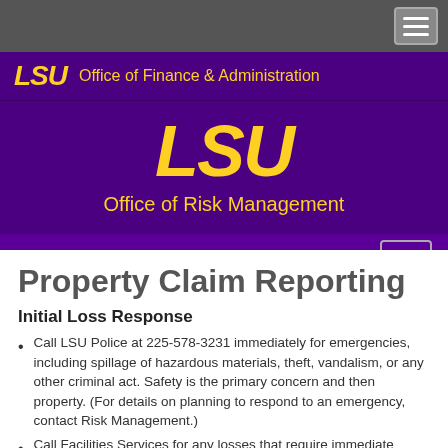[Figure (screenshot): LSU Office of Risk Management website header with purple background, gold LSU logo, and navigation menu bar]
Property Claim Reporting
Initial Loss Response
Call LSU Police at 225-578-3231 immediately for emergencies, including spillage of hazardous materials, theft, vandalism, or any other criminal act. Safety is the primary concern and then property. (For details on planning to respond to an emergency, contact Risk Management.)
Call Facilities Services for any losses that require immediate